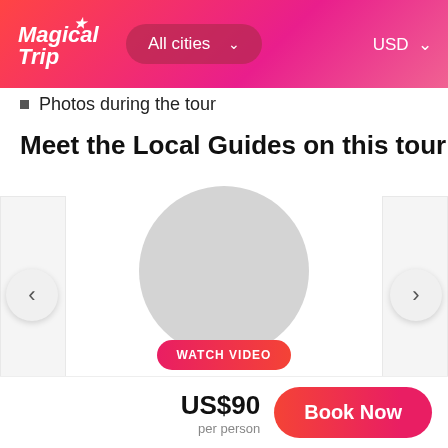[Figure (screenshot): Magical Trip website header with gradient red-pink background, logo, 'All cities' dropdown pill, and USD currency selector]
Photos during the tour
Meet the Local Guides on this tour
[Figure (photo): Guide profile card for Miori with circular grey placeholder avatar, 'WATCH VIDEO' button, name 'Miori', and 5 orange stars. Left and right navigation arrows visible.]
US$90 per person
Book Now